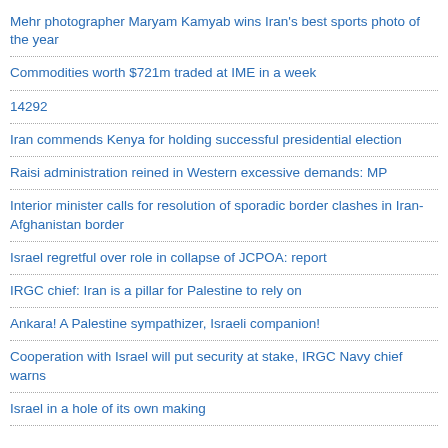Mehr photographer Maryam Kamyab wins Iran's best sports photo of the year
Commodities worth $721m traded at IME in a week
14292
Iran commends Kenya for holding successful presidential election
Raisi administration reined in Western excessive demands: MP
Interior minister calls for resolution of sporadic border clashes in Iran-Afghanistan border
Israel regretful over role in collapse of JCPOA: report
IRGC chief: Iran is a pillar for Palestine to rely on
Ankara! A Palestine sympathizer, Israeli companion!
Cooperation with Israel will put security at stake, IRGC Navy chief warns
Israel in a hole of its own making